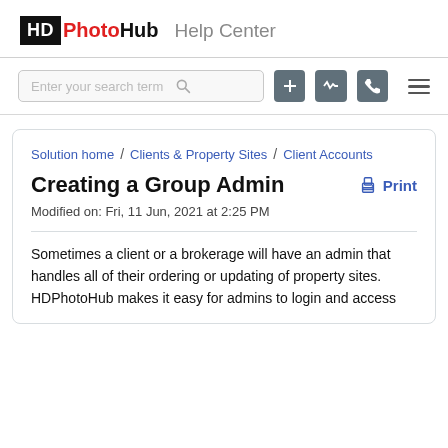HD PhotoHub Help Center
[Figure (screenshot): Search bar with icons for new order, activity, phone, and hamburger menu]
Solution home / Clients & Property Sites / Client Accounts
Creating a Group Admin
Modified on: Fri, 11 Jun, 2021 at 2:25 PM
Sometimes a client or a brokerage will have an admin that handles all of their ordering or updating of property sites. HDPhotoHub makes it easy for admins to login and access